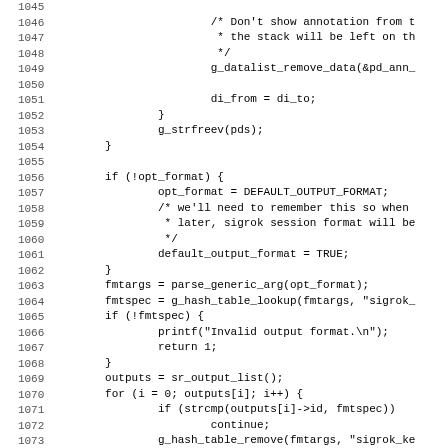[Figure (screenshot): Source code listing in monospace font showing C code lines 1045-1076, with line numbers on the left and code on the right. The code involves datalist removal, string operations, format checking, hash table lookups, and output format initialization.]